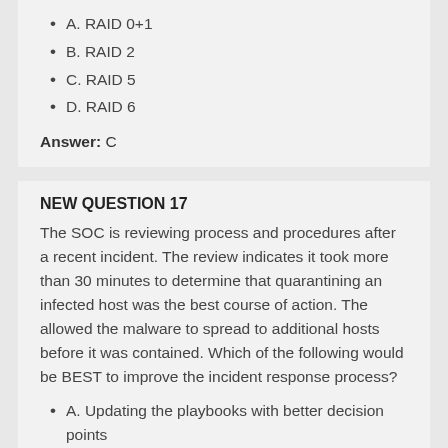A. RAID 0+1
B. RAID 2
C. RAID 5
D. RAID 6
Answer: C
NEW QUESTION 17
The SOC is reviewing process and procedures after a recent incident. The review indicates it took more than 30 minutes to determine that quarantining an infected host was the best course of action. The allowed the malware to spread to additional hosts before it was contained. Which of the following would be BEST to improve the incident response process?
A. Updating the playbooks with better decision points